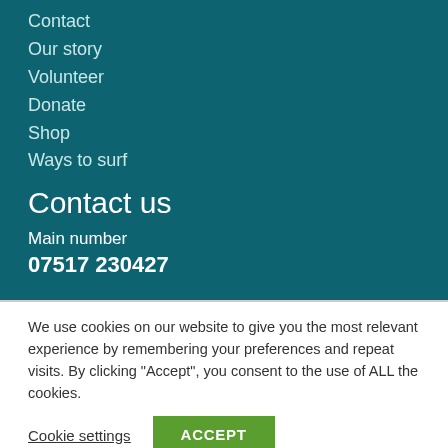Contact
Our story
Volunteer
Donate
Shop
Ways to surf
Contact us
Main number
07517 230427
We use cookies on our website to give you the most relevant experience by remembering your preferences and repeat visits. By clicking “Accept”, you consent to the use of ALL the cookies.
Cookie settings
ACCEPT